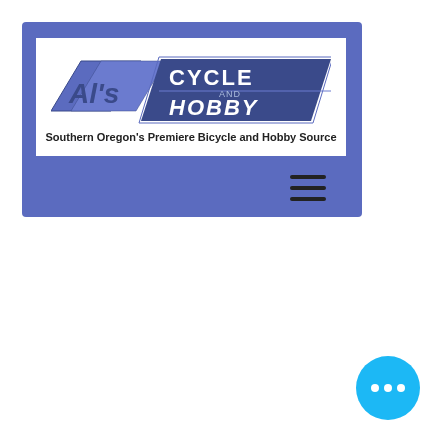[Figure (logo): Al's Cycle and Hobby logo with tagline 'Southern Oregon's Premiere Bicycle and Hobby Source' on a blue banner with a hamburger menu icon]